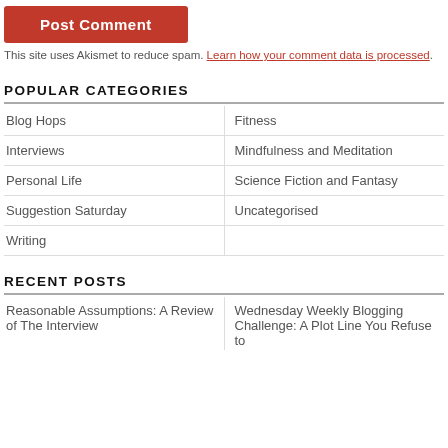[Figure (other): Red 'Post Comment' button]
This site uses Akismet to reduce spam. Learn how your comment data is processed.
POPULAR CATEGORIES
| Blog Hops | Fitness |
| Interviews | Mindfulness and Meditation |
| Personal Life | Science Fiction and Fantasy |
| Suggestion Saturday | Uncategorised |
| Writing |  |
RECENT POSTS
| Reasonable Assumptions: A Review of The Interview | Wednesday Weekly Blogging Challenge: A Plot Line You Refuse to |